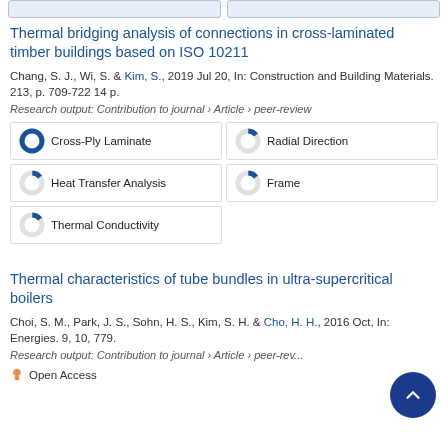Thermal bridging analysis of connections in cross-laminated timber buildings based on ISO 10211
Chang, S. J., Wi, S. & Kim, S., 2019 Jul 20, In: Construction and Building Materials. 213, p. 709-722 14 p.
Research output: Contribution to journal › Article › peer-review
Cross-Ply Laminate
Radial Direction
Heat Transfer Analysis
Frame
Thermal Conductivity
Thermal characteristics of tube bundles in ultra-supercritical boilers
Choi, S. M., Park, J. S., Sohn, H. S., Kim, S. H. & Cho, H. H., 2016 Oct, In: Energies. 9, 10, 779.
Research output: Contribution to journal › Article › peer-review
Open Access